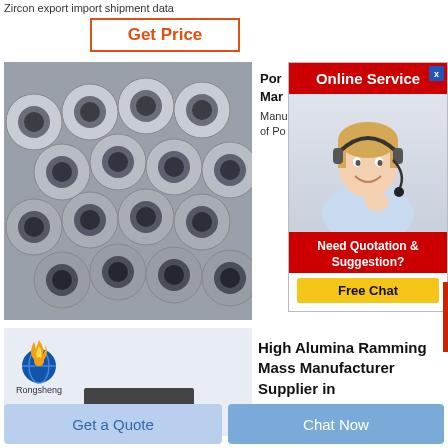Zircon export import shipment data
Get Price
[Figure (photo): Stack of grey/silver industrial pipes (tubes) with threaded ends, viewed from the front at an angle]
Por
Mar
Manu
of Po
[Figure (infographic): Online Service advertisement with a blonde woman wearing a headset/microphone, red header 'Online Service', red footer 'Need Quotation & Suggestion?', yellow Free Chat button, and blue X close button]
[Figure (logo): Rongsheng logo - globe with flame icon and text 'Rongsheng' below]
High Alumina Ramming Mass Manufacturer Supplier in
Get a Quote
Chat Now